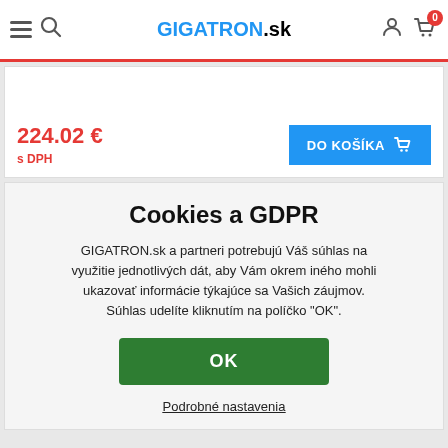GIGATRON.sk
224.02 € s DPH
DO KOŠÍKA
Cookies a GDPR
GIGATRON.sk a partneri potrebujú Váš súhlas na využitie jednotlivých dát, aby Vám okrem iného mohli ukazovať informácie týkajúce sa Vašich záujmov. Súhlas udelíte kliknutím na políčko "OK".
OK
Podrobné nastavenia